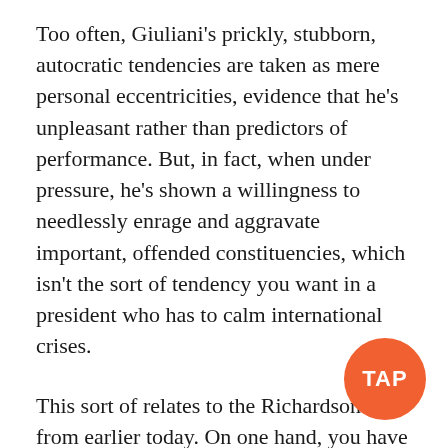Too often, Giuliani's prickly, stubborn, autocratic tendencies are taken as mere personal eccentricities, evidence that he's unpleasant rather than predictors of performance. But, in fact, when under pressure, he's shown a willingness to needlessly enrage and aggravate important, offended constituencies, which isn't the sort of tendency you want in a president who has to calm international crises.
This sort of relates to the Richardson talk from earlier today. On one hand, you have a popular, internationally experience candidate with a proven ability to pull of remarkable diplomatic feats. On the other, you've got a prickly eccentric whose descent into unpopularity was interrupted by a massive terrorist attack, who has no actual foreign policy or national security experience, and
[Figure (logo): Orange circular TAP badge/watermark in the bottom right corner with white bold text 'TAP']